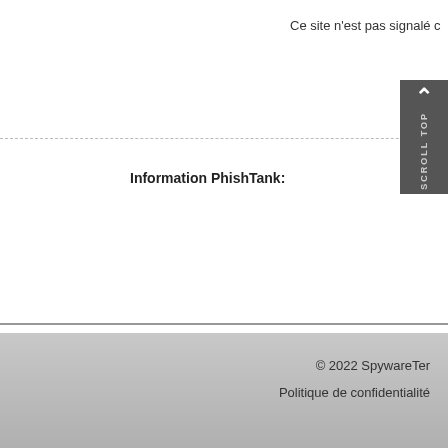Ce site n'est pas signalé c
Information PhishTank:
Pas Disponible
Ce site n'est pas sig c
Voir les informations d'ita
Statistiques des Evaluations de l'Utilisate
Sûr (1)
Adware, spyware, viru
Spam
Phishing & scams site
Réseaux de publicité
Warez & Contenu illé
Pornographie
Avalanche de Pop up
© 2022 SpywareTer
Politique de confidentialité